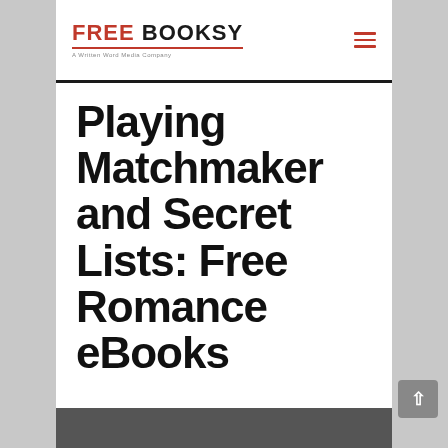FREE BOOKSY — A Written Word Media Company
Playing Matchmaker and Secret Lists: Free Romance eBooks